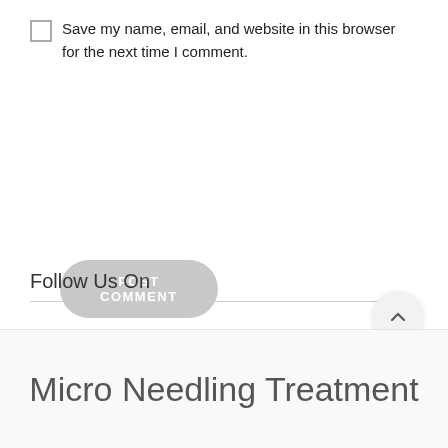Save my name, email, and website in this browser for the next time I comment.
POST COMMENT
Follow Us On
Micro Needling Treatment